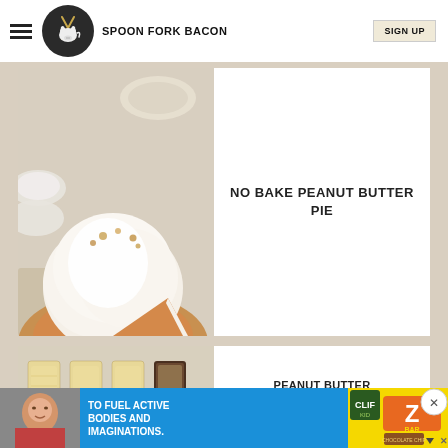SPOON FORK BACON | SIGN UP
[Figure (photo): Peanut butter pie with whipped cream topping, sliced, in a pie dish on a cloth]
NO BAKE PEANUT BUTTER PIE
[Figure (photo): Several rectangular coconut/almond bars laid out on a surface]
[Figure (photo): Advertisement banner: child eating, Clif Kid ZBar ad - TO FUEL ACTIVE BODIES AND IMAGINATIONS.]